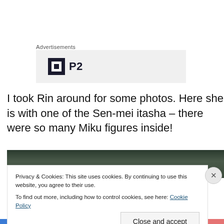Advertisements
[Figure (logo): P2 advertisement logo on grey background]
I took Rin around for some photos. Here she is with one of the Sen-mei itasha – there were so many Miku figures inside!
[Figure (photo): Photo strip showing interior of Sen-mei itasha with Miku figures]
Privacy & Cookies: This site uses cookies. By continuing to use this website, you agree to their use.
To find out more, including how to control cookies, see here: Cookie Policy